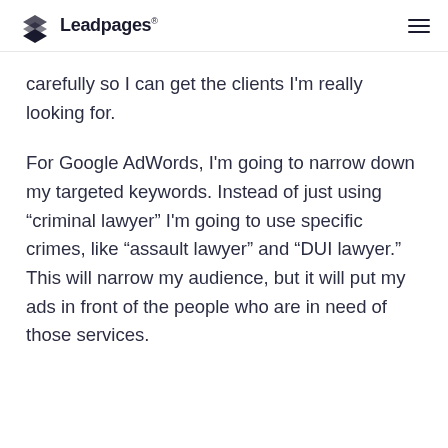Leadpages
carefully so I can get the clients I'm really looking for.
For Google AdWords, I'm going to narrow down my targeted keywords. Instead of just using “criminal lawyer” I'm going to use specific crimes, like “assault lawyer” and “DUI lawyer.” This will narrow my audience, but it will put my ads in front of the people who are in need of those services.